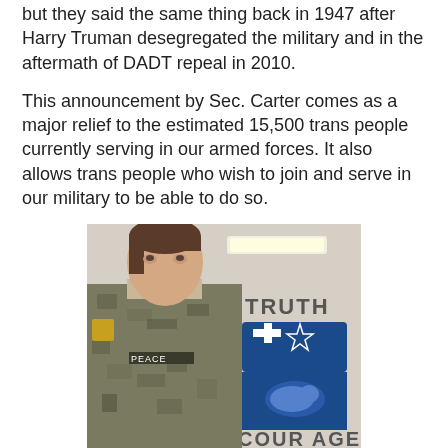but they said the same thing back in 1947 after Harry Truman desegregated the military and in the aftermath of DADT repeal in 2010.
This announcement by Sec. Carter comes as a major relief to the estimated 15,500 trans people currently serving in our armed forces. It also allows trans people who wish to join and serve in our military to be able to do so.
[Figure (photo): A person in military camouflage uniform with a name tag reading PEACE, standing in front of a wall sign that reads TRUTH COURAGE with a military crest/shield emblem in blue and white.]
There are 18 nations, including several NATO allies like Great Britain that have allowed trans people to openly serve in their nation's military forces without incident, and Canada